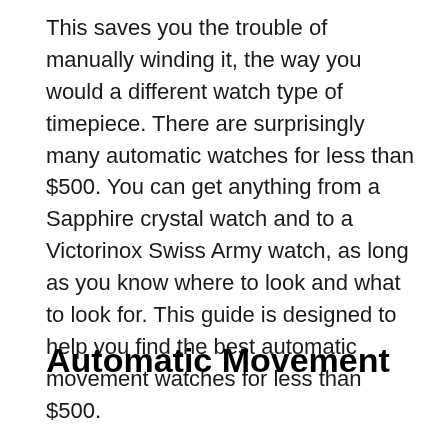This saves you the trouble of manually winding it, the way you would a different watch type of timepiece. There are surprisingly many automatic watches for less than $500. You can get anything from a Sapphire crystal watch and to a Victorinox Swiss Army watch, as long as you know where to look and what to look for. This guide is designed to help you find the best automatic movement watches for less than $500.
Automatic Movement